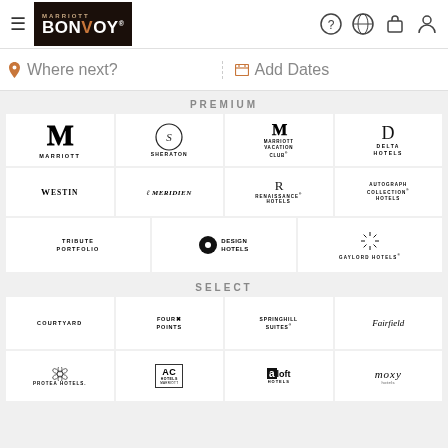[Figure (logo): Marriott Bonvoy logo - white text on dark background]
Where next?
Add Dates
PREMIUM
[Figure (logo): Marriott brand logo]
[Figure (logo): Sheraton brand logo]
[Figure (logo): Marriott Vacation Club brand logo]
[Figure (logo): Delta Hotels brand logo]
[Figure (logo): Westin brand logo]
[Figure (logo): Le Meridien brand logo]
[Figure (logo): Renaissance Hotels brand logo]
[Figure (logo): Autograph Collection Hotels brand logo]
[Figure (logo): Tribute Portfolio brand logo]
[Figure (logo): Design Hotels brand logo]
[Figure (logo): Gaylord Hotels brand logo]
SELECT
[Figure (logo): Courtyard brand logo]
[Figure (logo): Four Points brand logo]
[Figure (logo): SpringHill Suites brand logo]
[Figure (logo): Fairfield brand logo]
[Figure (logo): Protea Hotels brand logo]
[Figure (logo): AC Hotels Marriott brand logo]
[Figure (logo): Aloft Hotels brand logo]
[Figure (logo): Moxy Hotels brand logo]